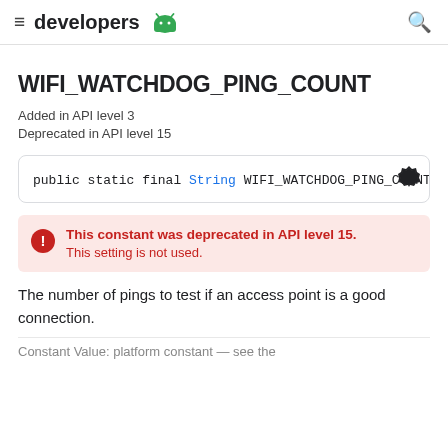developers
WIFI_WATCHDOG_PING_COUNT
Added in API level 3
Deprecated in API level 15
public static final String WIFI_WATCHDOG_PING_COUNT
This constant was deprecated in API level 15. This setting is not used.
The number of pings to test if an access point is a good connection.